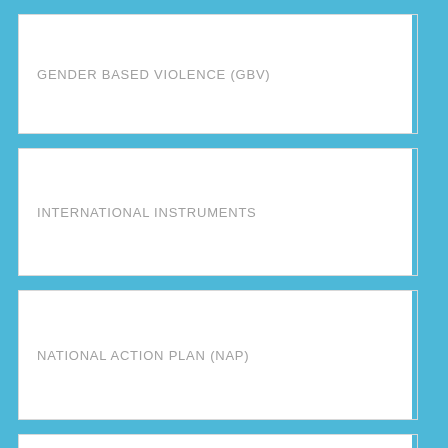GENDER BASED VIOLENCE (GBV)
INTERNATIONAL INSTRUMENTS
NATIONAL ACTION PLAN (NAP)